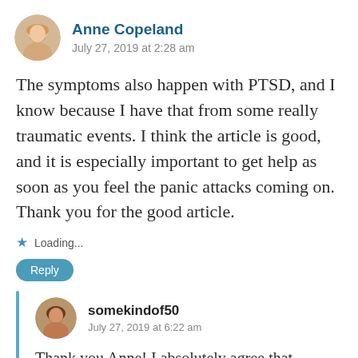[Figure (photo): Round avatar photo of Anne Copeland, a woman with blonde/gray hair]
Anne Copeland
July 27, 2019 at 2:28 am
The symptoms also happen with PTSD, and I know because I have that from some really traumatic events. I think the article is good, and it is especially important to get help as soon as you feel the panic attacks coming on. Thank you for the good article.
Loading...
Reply
[Figure (photo): Round avatar photo of somekindof50, a woman with dark hair]
somekindof50
July 27, 2019 at 6:22 am
Thank you Anne! I absolutely agree that...